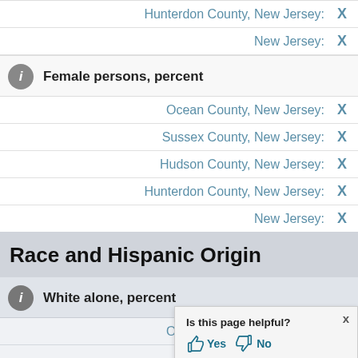Hunterdon County, New Jersey: X
New Jersey: X
Female persons, percent
Ocean County, New Jersey: X
Sussex County, New Jersey: X
Hudson County, New Jersey: X
Hunterdon County, New Jersey: X
New Jersey: X
Race and Hispanic Origin
White alone, percent
Ocean County, New Jersey: X
Sussex County, New Jersey: X (partially obscured)
Hudson County, New Jersey: X (partially obscured)